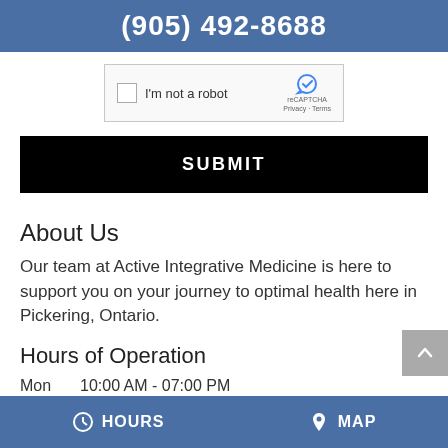(905) 492-8688
[Figure (screenshot): reCAPTCHA 'I'm not a robot' checkbox widget]
SUBMIT
About Us
Our team at Active Integrative Medicine is here to support you on your journey to optimal health here in Pickering, Ontario.
Hours of Operation
Mon   10:00 AM - 07:00 PM
Tue   10:00 AM - 06:00 PM
HOURS   MAP